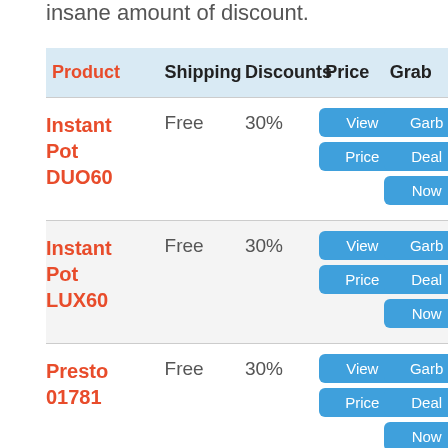insane amount of discount.
| Product | Shipping | Discounts | Price | Grab |
| --- | --- | --- | --- | --- |
| Instant Pot DUO60 | Free | 30% | View Price | Garb Deal Now |
| Instant Pot LUX60 | Free | 30% | View Price | Garb Deal Now |
| Presto 01781 | Free | 30% | View Price | Garb Deal Now |